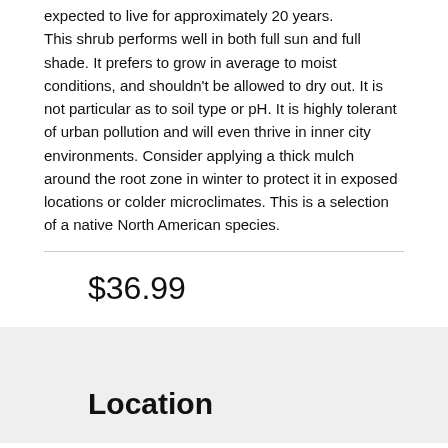expected to live for approximately 20 years. This shrub performs well in both full sun and full shade. It prefers to grow in average to moist conditions, and shouldn't be allowed to dry out. It is not particular as to soil type or pH. It is highly tolerant of urban pollution and will even thrive in inner city environments. Consider applying a thick mulch around the root zone in winter to protect it in exposed locations or colder microclimates. This is a selection of a native North American species.
$36.99
Location